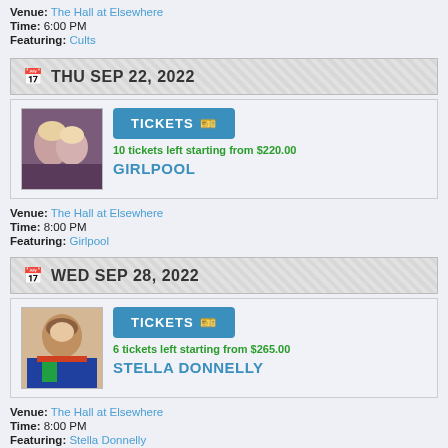Venue: The Hall at Elsewhere
Time: 6:00 PM
Featuring: Cults
THU SEP 22, 2022
[Figure (photo): Photo of Girlpool band members]
TICKETS
10 tickets left starting from $220.00
GIRLPOOL
Venue: The Hall at Elsewhere
Time: 8:00 PM
Featuring: Girlpool
WED SEP 28, 2022
[Figure (photo): Photo of Stella Donnelly]
TICKETS
6 tickets left starting from $265.00
STELLA DONNELLY
Venue: The Hall at Elsewhere
Time: 8:00 PM
Featuring: Stella Donnelly
SUN OCT 30, 2022